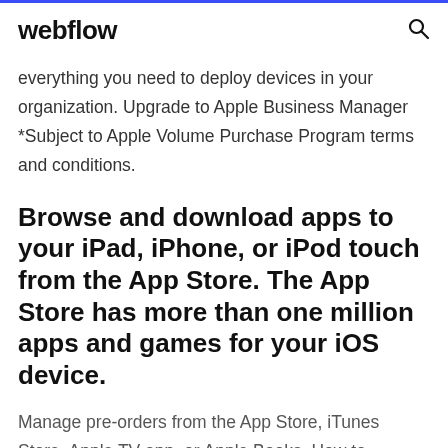webflow
everything you need to deploy devices in your organization. Upgrade to Apple Business Manager *Subject to Apple Volume Purchase Program terms and conditions.
Browse and download apps to your iPad, iPhone, or iPod touch from the App Store. The App Store has more than one million apps and games for your iOS device.
Manage pre-orders from the App Store, iTunes Store, Apple TV app, or Apple Books. How to